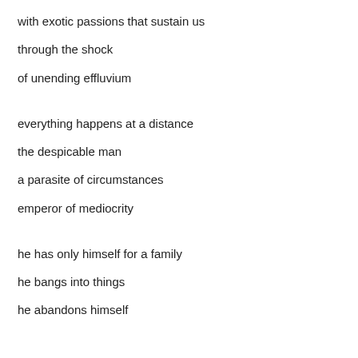with exotic passions that sustain us
through the shock
of unending effluvium
everything happens at a distance
the despicable man
a parasite of circumstances
emperor of mediocrity
he has only himself for a family
he bangs into things
he abandons himself